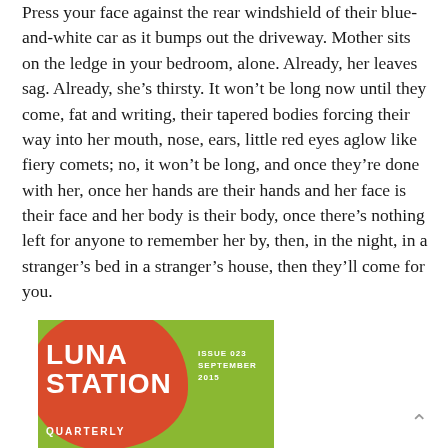Press your face against the rear windshield of their blue-and-white car as it bumps out the driveway. Mother sits on the ledge in your bedroom, alone. Already, her leaves sag. Already, she’s thirsty. It won’t be long now until they come, fat and writing, their tapered bodies forcing their way into her mouth, nose, ears, little red eyes aglow like fiery comets; no, it won’t be long, and once they’re done with her, once her hands are their hands and her face is their face and her body is their body, once there’s nothing left for anyone to remember her by, then, in the night, in a stranger’s bed in a stranger’s house, then they’ll come for you.
[Figure (illustration): Cover of Luna Station Quarterly, Issue 023, September 2015. Green background with large red/orange blob shape on left containing white bold text 'LUNA STATION' and 'QUARTERLY' below. Issue number and date on right side in white text.]